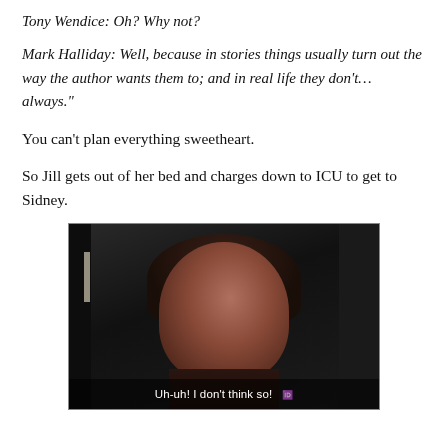Tony Wendice: Oh? Why not?
Mark Halliday: Well, because in stories things usually turn out the way the author wants them to; and in real life they don't… always."
You can't plan everything sweetheart.
So Jill gets out of her bed and charges down to ICU to get to Sidney.
[Figure (screenshot): A TV/film screenshot of a dark-haired woman with subtitle text 'Uh-uh! I don't think so!']